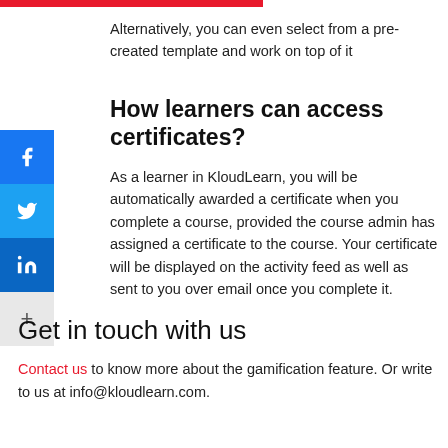Alternatively, you can even select from a pre-created template and work on top of it
How learners can access certificates?
As a learner in KloudLearn, you will be automatically awarded a certificate when you complete a course, provided the course admin has assigned a certificate to the course. Your certificate will be displayed on the activity feed as well as sent to you over email once you complete it.
Get in touch with us
Contact us to know more about the gamification feature. Or write to us at info@kloudlearn.com.